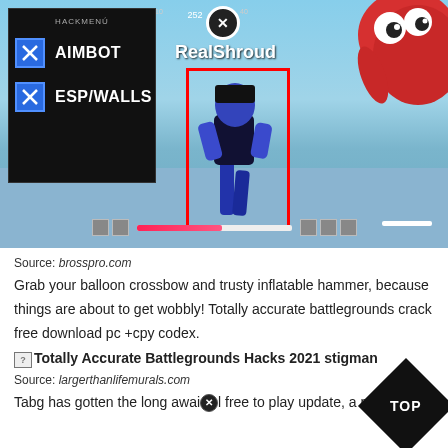[Figure (screenshot): Screenshot of a game (Totally Accurate Battlegrounds) with a hack/cheat menu overlay in the top-left showing AIMBOT and ESP/WALLS options checked. A player character labeled 'RealShroud' is highlighted with a red bounding box. A red cartoon creature is visible top-right.]
Source: brosspro.com
Grab your balloon crossbow and trusty inflatable hammer, because things are about to get wobbly! Totally accurate battlegrounds crack free download pc +cpy codex.
Totally Accurate Battlegrounds Hacks 2021 stigman
Source: largerthanlifemurals.com
Tabg has gotten the long await free to play update, a new